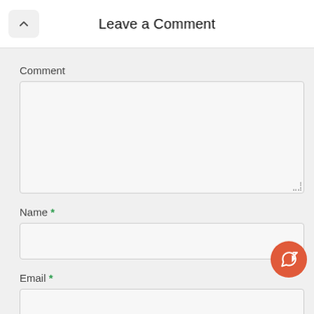Leave a Comment
Comment
Name *
Email *
Post Comment